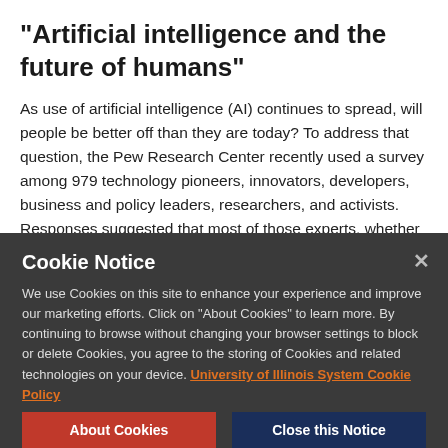“Artificial intelligence and the future of humans”
As use of artificial intelligence (AI) continues to spread, will people be better off than they are today? To address that question, the Pew Research Center recently used a survey among 979 technology pioneers, innovators, developers, business and policy leaders, researchers, and activists. Responses suggested that most of those experts, whether
Cookie Notice

We use Cookies on this site to enhance your experience and improve our marketing efforts. Click on “About Cookies” to learn more. By continuing to browse without changing your browser settings to block or delete Cookies, you agree to the storing of Cookies and related technologies on your device. University of Illinois System Cookie Policy

About Cookies   Close this Notice